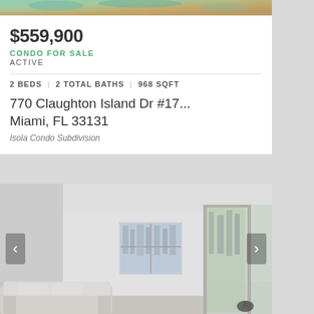[Figure (photo): Aerial or outdoor photo of pool/property at top of card (partially visible, cropped at top)]
$559,900
CONDO FOR SALE
ACTIVE
2 BEDS | 2 TOTAL BATHS | 968 SQFT
770 Claughton Island Dr #17...
Miami, FL 33131
Isola Condo Subdivision
[Figure (photo): Interior photo of a condo living room with large windows overlooking city skyline, white sofa, floor lamp, sliding glass door to balcony]